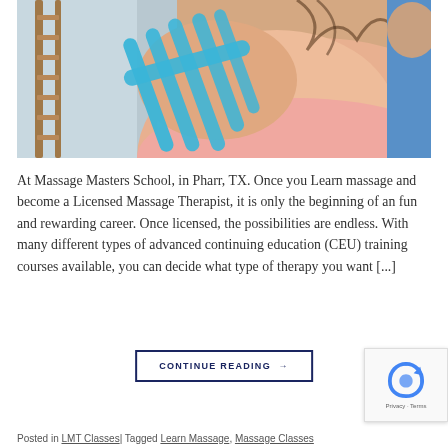[Figure (photo): Person's back/shoulder with blue kinesiology tape applied in multiple strips, wearing a pink top, in a clinical/gym setting]
At Massage Masters School, in Pharr, TX. Once you Learn massage and become a Licensed Massage Therapist, it is only the beginning of an fun and rewarding career. Once licensed, the possibilities are endless. With many different types of advanced continuing education (CEU) training courses available, you can decide what type of therapy you want [...]
CONTINUE READING →
Posted in LMT Classes| Tagged Learn Massage, Massage Classes